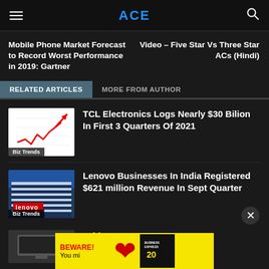ACE
Mobile Phone Market Forecast to Record Worst Performance in 2019: Gartner
Video – Five Star Vs Three Star ACs (Hindi)
RELATED ARTICLES
MORE FROM AUTHOR
TCL Electronics Logs Nearly $30 Bilion In First 3 Quarters Of 2021
Biz Trends
Lenovo Businesses In India Registered $621 million Revenue In Sept Quarter
Biz Trends
Tablet
BEWARE! You mi